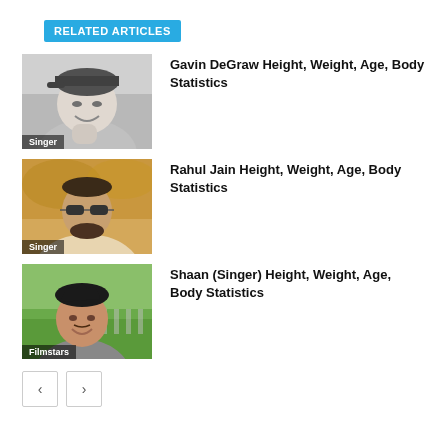RELATED ARTICLES
[Figure (photo): Black and white photo of Gavin DeGraw smiling, wearing a cap and hoodie. Label: Singer]
Gavin DeGraw Height, Weight, Age, Body Statistics
[Figure (photo): Color photo of Rahul Jain wearing sunglasses outdoors. Label: Singer]
Rahul Jain Height, Weight, Age, Body Statistics
[Figure (photo): Color photo of Shaan (Singer) smiling outdoors on grass. Label: Filmstars]
Shaan (Singer) Height, Weight, Age, Body Statistics